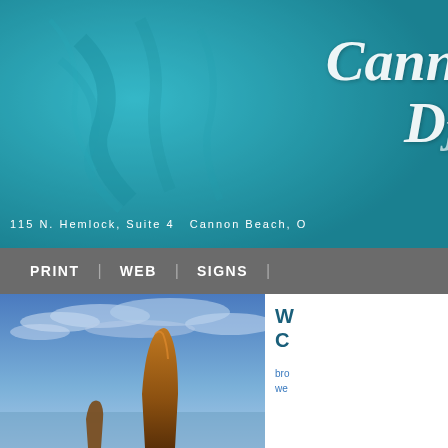[Figure (photo): Teal/turquoise textured banner background with decorative serif logo text 'Cann D' visible in white on the right side, with address text at the bottom]
115 N. Hemlock, Suite 4  Cannon Beach, O
PRINT | WEB | SIGNS |
[Figure (photo): Scenic coastal photo showing Haystack Rock at Cannon Beach, Oregon against a dramatic blue cloudy sky]
W
C
bro
we